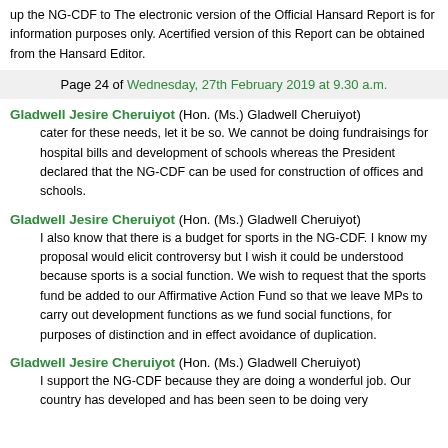up the NG-CDF to The electronic version of the Official Hansard Report is for information purposes only. Acertified version of this Report can be obtained from the Hansard Editor.
Page 24 of Wednesday, 27th February 2019 at 9.30 a.m.
Gladwell Jesire Cheruiyot (Hon. (Ms.) Gladwell Cheruiyot) cater for these needs, let it be so. We cannot be doing fundraisings for hospital bills and development of schools whereas the President declared that the NG-CDF can be used for construction of offices and schools.
Gladwell Jesire Cheruiyot (Hon. (Ms.) Gladwell Cheruiyot) I also know that there is a budget for sports in the NG-CDF. I know my proposal would elicit controversy but I wish it could be understood because sports is a social function. We wish to request that the sports fund be added to our Affirmative Action Fund so that we leave MPs to carry out development functions as we fund social functions, for purposes of distinction and in effect avoidance of duplication.
Gladwell Jesire Cheruiyot (Hon. (Ms.) Gladwell Cheruiyot) I support the NG-CDF because they are doing a wonderful job. Our country has developed and has been seen to be doing very